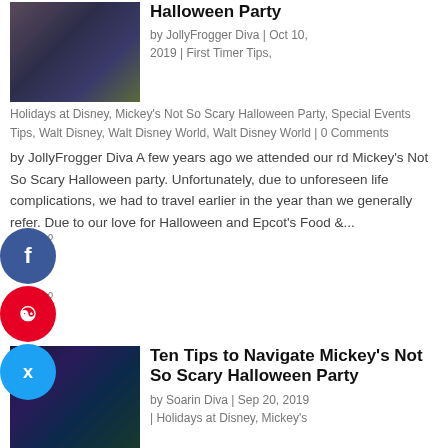[Figure (photo): Halloween party photo with ghostly characters in blue/teal costumes]
Halloween Party
by JollyFrogger Diva | Oct 10, 2019 | First Timer Tips, Holidays at Disney, Mickey's Not So Scary Halloween Party, Special Events Tips, Walt Disney, Walt Disney World, Walt Disney World | 0 Comments
by JollyFrogger Diva A few years ago we attended our rd Mickey's Not So Scary Halloween party. Unfortunately, due to unforeseen life complications, we had to travel earlier in the year than we generally refer. Due to our love for Halloween and Epcot's Food &...
[Figure (photo): Boo to You Halloween Parade sign at Mickey's Not So Scary Halloween Party]
Ten Tips to Navigate Mickey's Not So Scary Halloween Party
by Soarin Diva | Sep 20, 2019 | Holidays at Disney, Mickey's Not So Scary Halloween Party, Special Events Tips & Reviews, Walt Disney World, Walt Disney World | 0